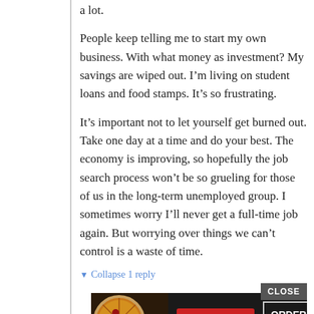a lot.
People keep telling me to start my own business. With what money as investment? My savings are wiped out. I'm living on student loans and food stamps. It's so frustrating.
It's important not to let yourself get burned out. Take one day at a time and do your best. The economy is improving, so hopefully the job search process won't be so grueling for those of us in the long-term unemployed group. I sometimes worry I'll never get a full-time job again. But worrying over things we can't control is a waste of time.
▼ Collapse 1 reply
[Figure (screenshot): Advertisement banner for Seamless food ordering service showing pizza image, red Seamless logo, and ORDER NOW button with a CLOSE button above it]